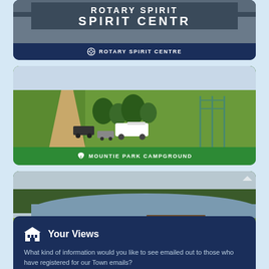[Figure (photo): Rotary Spirit Centre building exterior with large sign reading SPIRIT CENTRE]
ROTARY SPIRIT CENTRE
[Figure (photo): Aerial view of Mountie Park Campground showing green fields, dirt road, trees, and parked vehicles including an RV]
MOUNTIE PARK CAMPGROUND
[Figure (photo): Park scene with a pond, trees, yellow flowers, and a wooden bench in the foreground — Westlock & District FCSS]
WESTLOCK & DISTRICT F.C.S.S
Your Views
What kind of information would you like to see emailed out to those who have registered for our Town emails?